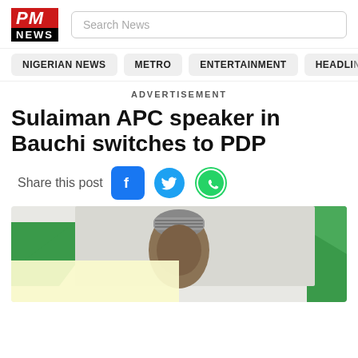PM NEWS
Search News
NIGERIAN NEWS
METRO
ENTERTAINMENT
HEADLINES
ADVERTISEMENT
Sulaiman APC speaker in Bauchi switches to PDP
Share this post
[Figure (photo): Photo of a person wearing a grey Nigerian cap, in front of a green and white background (Nigerian flag colors), with a yellow advertisement overlay at the bottom left.]